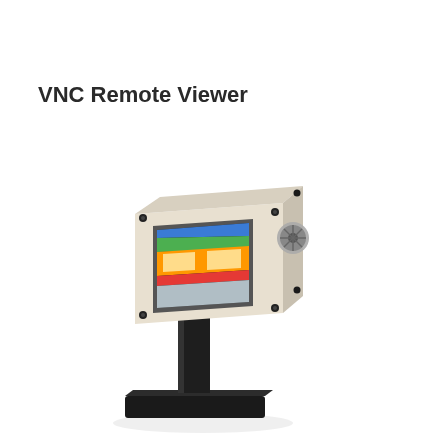VNC Remote Viewer
[Figure (illustration): A VNC Remote Viewer kiosk device: a beige/off-white metal enclosure box with a color touchscreen display showing a colorful UI (blue, green, orange, red panels), mounted on a black pedestal stand with a wide base plate. The box has black screw/bolt corners and a ventilation fan on the right side.]